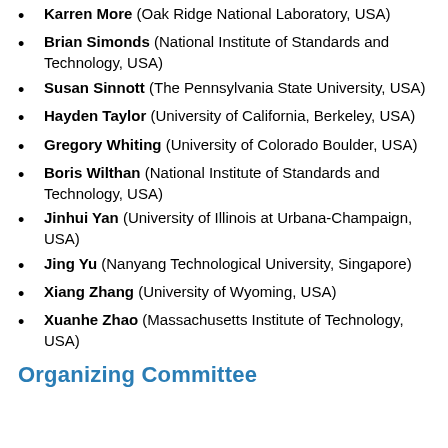Karren More (Oak Ridge National Laboratory, USA)
Brian Simonds (National Institute of Standards and Technology, USA)
Susan Sinnott (The Pennsylvania State University, USA)
Hayden Taylor (University of California, Berkeley, USA)
Gregory Whiting (University of Colorado Boulder, USA)
Boris Wilthan (National Institute of Standards and Technology, USA)
Jinhui Yan (University of Illinois at Urbana-Champaign, USA)
Jing Yu (Nanyang Technological University, Singapore)
Xiang Zhang (University of Wyoming, USA)
Xuanhe Zhao (Massachusetts Institute of Technology, USA)
Organizing Committee